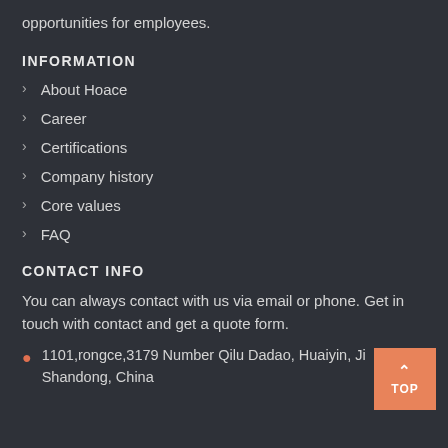opportunities for employees.
INFORMATION
About Hoace
Career
Certifications
Company history
Core values
FAQ
CONTACT INFO
You can always contact with us via email or phone. Get in touch with contact and get a quote form.
1101,rongce,3179 Number Qilu Dadao, Huaiyin, Ji… Shandong, China